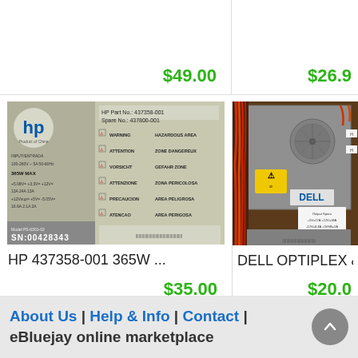$49.00
$26.9...
[Figure (photo): HP power supply unit label showing HP Part No: 437358-001, Spare No: 437800-001, with multilingual warning labels, 365W MAX, SN: 00428343]
HP 437358-001 365W ...
$35.00
[Figure (photo): Dell Optiplex power supply unit with orange and yellow cables visible, yellow warning sticker, Dell branding on gray metal chassis]
DELL OPTIPLEX & Dime...
$20.0...
About Us | Help & Info | Contact | eBluejay online marketplace